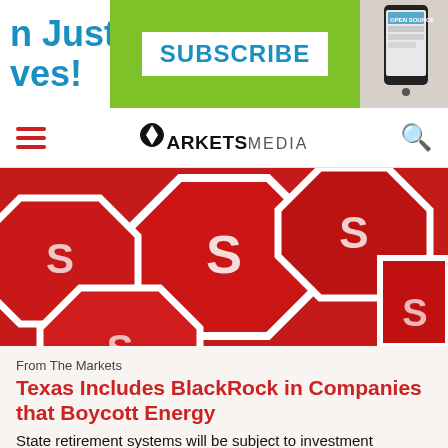[Figure (other): Promotional banner with blue text 'n Just ves!' on left, green center with white SUBSCRIBE button, and phone/app image on right]
MARKETS MEDIA navigation bar with hamburger menu and search icon
[Figure (photo): Close-up photo of multiple red stop signs piled together with white lettering]
From The Markets
Texas Includes BlackRock in Companies that Boycott Energy
State retirement systems will be subject to investment prohibitions and